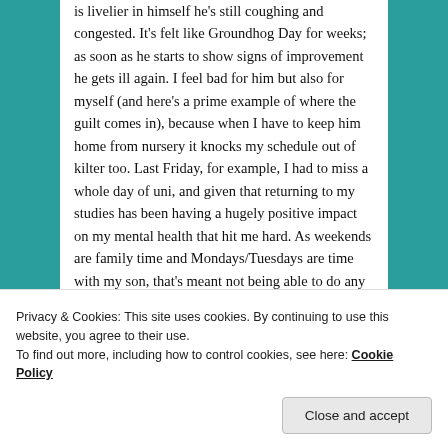is livelier in himself he's still coughing and congested. It's felt like Groundhog Day for weeks; as soon as he starts to show signs of improvement he gets ill again. I feel bad for him but also for myself (and here's a prime example of where the guilt comes in), because when I have to keep him home from nursery it knocks my schedule out of kilter too. Last Friday, for example, I had to miss a whole day of uni, and given that returning to my studies has been having a hugely positive impact on my mental health that hit me hard. As weekends are family time and Mondays/Tuesdays are time with my son, that's meant not being able to do any uni work for several days, which is stoking the embers of my anxiety nicely.
[Figure (illustration): Colorful decorative banner image with orange, yellow, green and purple segments with patterns and shapes]
Privacy & Cookies: This site uses cookies. By continuing to use this website, you agree to their use.
To find out more, including how to control cookies, see here: Cookie Policy